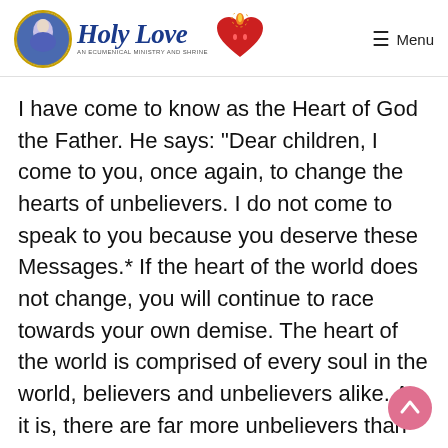Holy Love — An Ecumenical Ministry and Shrine | Menu
I have come to know as the Heart of God the Father. He says: "Dear children, I come to you, once again, to change the hearts of unbelievers. I do not come to speak to you because you deserve these Messages.* If the heart of the world does not change, you will continue to race towards your own demise. The heart of the world is comprised of every soul in the world, believers and unbelievers alike. As it is, there are far more unbelievers than believers."